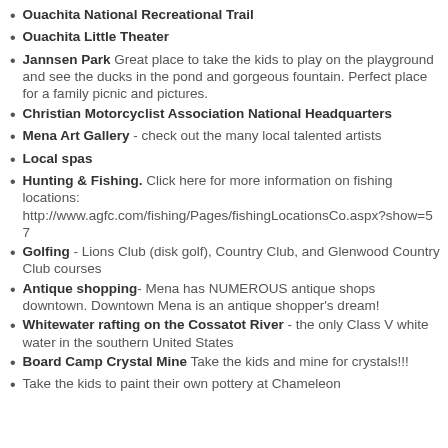Ouachita National Recreational Trail
Ouachita Little Theater
Jannsen Park  Great place to take the kids to play on the playground and see the ducks in the pond and gorgeous fountain.  Perfect place for a family picnic and pictures.
Christian Motorcyclist Association National Headquarters
Mena Art Gallery - check out the many local talented artists
Local spas
Hunting & Fishing.  Click here for more information on fishing locations:  http://www.agfc.com/fishing/Pages/fishingLocationsCo.aspx?show=57
Golfing - Lions Club (disk golf), Country Club, and Glenwood Country Club courses
Antique shopping- Mena has NUMEROUS antique shops downtown.  Downtown Mena is an antique shopper's dream!
Whitewater rafting on the Cossatot River -  the only Class V white water in the southern United States
Board Camp Crystal Mine  Take the kids and mine for crystals!!!
Take the kids to paint their own pottery at Chameleon